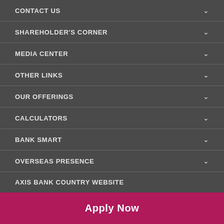CONTACT US
SHAREHOLDER'S CORNER
MEDIA CENTER
OTHER LINKS
OUR OFFERINGS
CALCULATORS
BANK SMART
OVERSEAS PRESENCE
AXIS BANK COUNTRY WEBSITE
Countries
Connect With Us On
Apply Now